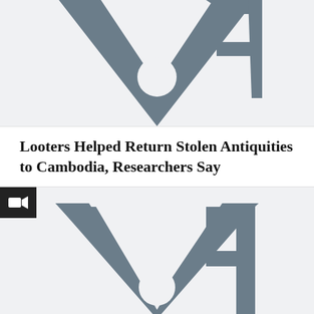[Figure (logo): VOA (Voice of America) logo in gray, partially cropped at top of page]
Looters Helped Return Stolen Antiquities to Cambodia, Researchers Say
[Figure (logo): VOA (Voice of America) logo in gray, full view with video camera badge overlay in top-left corner]
1,500-Year-Old Cambodian Hindu